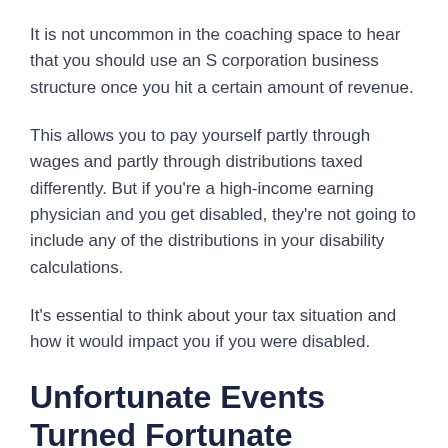It is not uncommon in the coaching space to hear that you should use an S corporation business structure once you hit a certain amount of revenue.
This allows you to pay yourself partly through wages and partly through distributions taxed differently. But if you're a high-income earning physician and you get disabled, they're not going to include any of the distributions in your disability calculations.
It's essential to think about your tax situation and how it would impact you if you were disabled.
Unfortunate Events Turned Fortunate